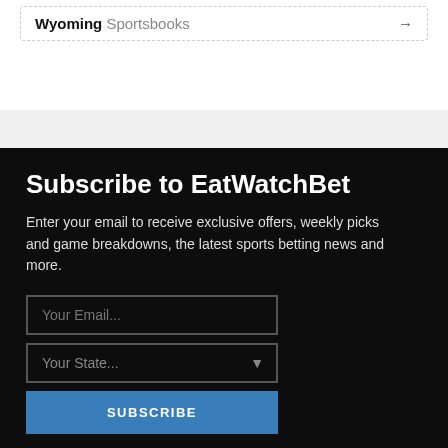Wyoming Sportsbooks →
Subscribe to EatWatchBet
Enter your email to receive exclusive offers, weekly picks and game breakdowns, the latest sports betting news and more.
Your Email...
Your State...
SUBSCRIBE